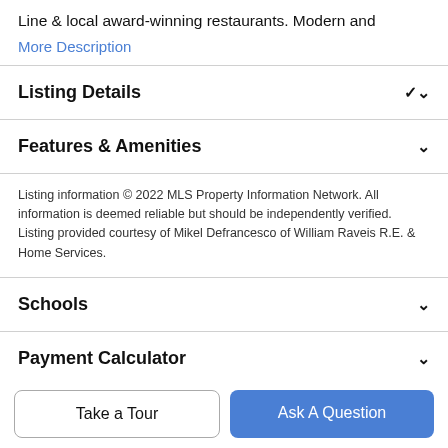Line & local award-winning restaurants. Modern and
More Description
Listing Details
Features & Amenities
Listing information © 2022 MLS Property Information Network. All information is deemed reliable but should be independently verified. Listing provided courtesy of Mikel Defrancesco of William Raveis R.E. & Home Services.
Schools
Payment Calculator
Take a Tour
Ask A Question